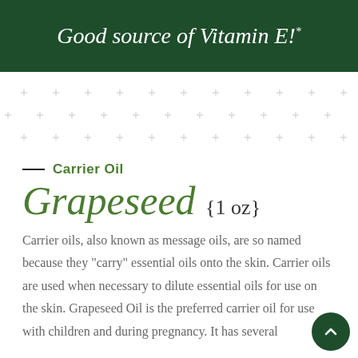Good source of Vitamin E!*
— Carrier Oil
Grapeseed {1 oz}
Carrier oils, also known as message oils, are so named because they "carry" essential oils onto the skin. Carrier oils are used when necessary to dilute essential oils for use on the skin. Grapeseed Oil is the preferred carrier oil for use with children and during pregnancy. It has several